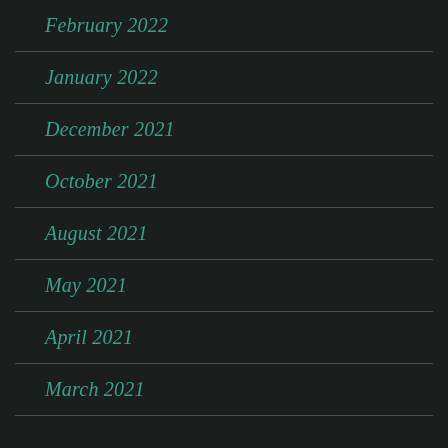February 2022
January 2022
December 2021
October 2021
August 2021
May 2021
April 2021
March 2021